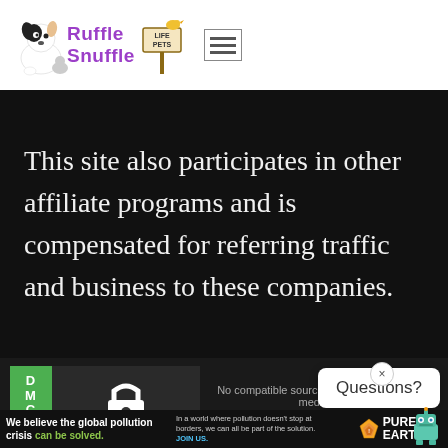[Figure (logo): Ruffle Snuffle and Life Pets logo with cartoon dog, cat and bird on a sign. Hamburger menu icon to the right.]
This site also participates in other affiliate programs and is compensated for referring traffic and business to these companies.
[Figure (logo): DMCA Protected badge with green D M C A panel on left and lock icon on dark background on right, PROTECTED text at bottom]
No compatible source was found for this media.
Questions?
We believe the global pollution crisis can be solved.
In a world where pollution doesn't stop at borders, we can all be part of the solution. JOIN US.
[Figure (logo): Pure Earth logo with diamond/arrow icon and robot mascot]